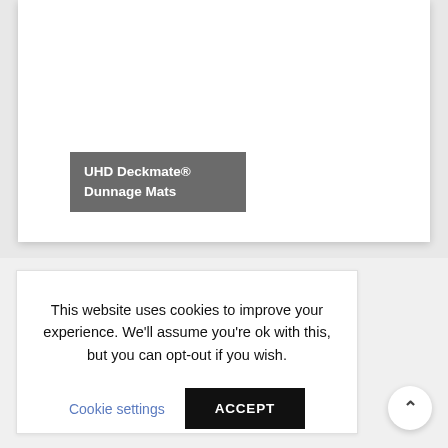[Figure (photo): White product card area with gray label overlay showing UHD Deckmate® Dunnage Mats]
UHD Deckmate® Dunnage Mats
This website uses cookies to improve your experience. We'll assume you're ok with this, but you can opt-out if you wish.
Cookie settings   ACCEPT